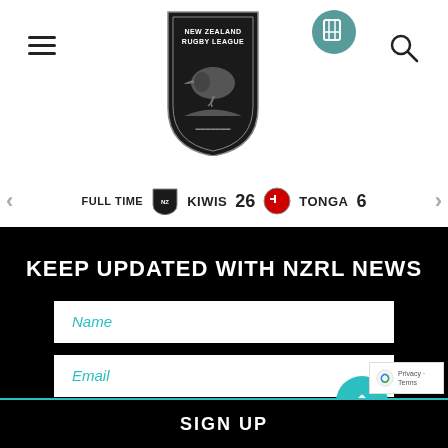[Figure (logo): New Zealand Rugby League logo with kiwi bird on shield, centered in header]
[Figure (screenshot): Hamburger menu icon (three horizontal lines) on left side of header]
[Figure (other): Secondary icon (tablet/book icon) upper right area of header]
[Figure (other): Search/magnifying glass icon on far right of header]
FULL TIME   KIWIS 26   TONGA 6
KEEP UPDATED WITH NZRL NEWS
Name
Email
SIGN UP